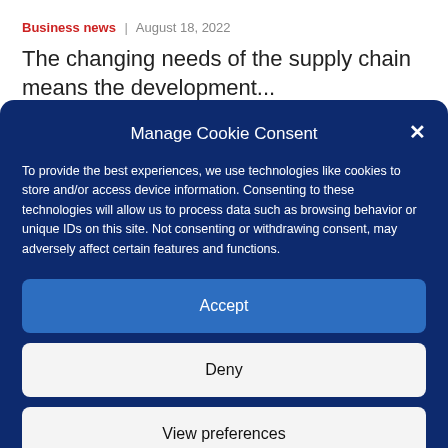Business news | August 18, 2022
The changing needs of the supply chain means the development...
Manage Cookie Consent
To provide the best experiences, we use technologies like cookies to store and/or access device information. Consenting to these technologies will allow us to process data such as browsing behavior or unique IDs on this site. Not consenting or withdrawing consent, may adversely affect certain features and functions.
Accept
Deny
View preferences
Privacy Statement